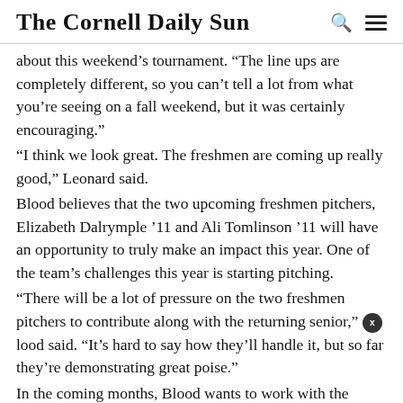The Cornell Daily Sun
about this weekend's tournament. "The line ups are completely different, so you can't tell a lot from what you're seeing on a fall weekend, but it was certainly encouraging."
"I think we look great. The freshmen are coming up really good," Leonard said.
Blood believes that the two upcoming freshmen pitchers, Elizabeth Dalrymple '11 and Ali Tomlinson '11 will have an opportunity to truly make an impact this year. One of the team's challenges this year is starting pitching.
"There will be a lot of pressure on the two freshmen pitchers to contribute along with the returning senior," Blood said. "It's hard to say how they'll handle it, but so far they're demonstrating great poise."
In the coming months, Blood wants to work with the pitchers a good deal.
"We have to make the ball move," Blood said. "It won't